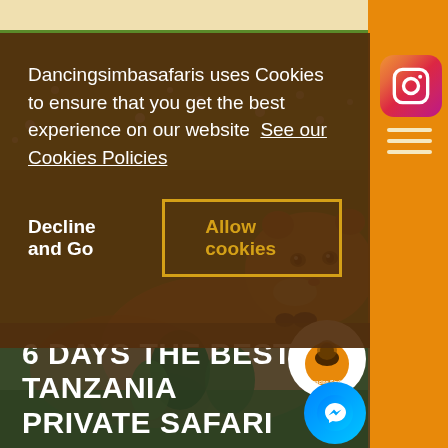[Figure (screenshot): Website screenshot of Dancingsimbasafaris with a cookie consent banner overlaid on a lion photo background. The cookie banner has dark brown background with white text and buttons. Below is a wildlife photo of a lioness resting in green grass. Bottom has a dark overlay with white bold title text.]
Dancingsimbasafaris uses Cookies to ensure that you get the best experience on our website  See our Cookies Policies
Decline and Go
Allow cookies
6 DAYS THE BEST OF TANZANIA PRIVATE SAFARI